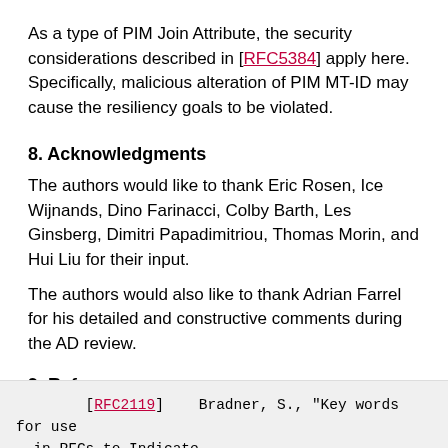As a type of PIM Join Attribute, the security considerations described in [RFC5384] apply here. Specifically, malicious alteration of PIM MT-ID may cause the resiliency goals to be violated.
8. Acknowledgments
The authors would like to thank Eric Rosen, Ice Wijnands, Dino Farinacci, Colby Barth, Les Ginsberg, Dimitri Papadimitriou, Thomas Morin, and Hui Liu for their input.
The authors would also like to thank Adrian Farrel for his detailed and constructive comments during the AD review.
9. References
9.1. Normative References
[RFC2119]    Bradner, S., "Key words for use in RFCs to Indicate...